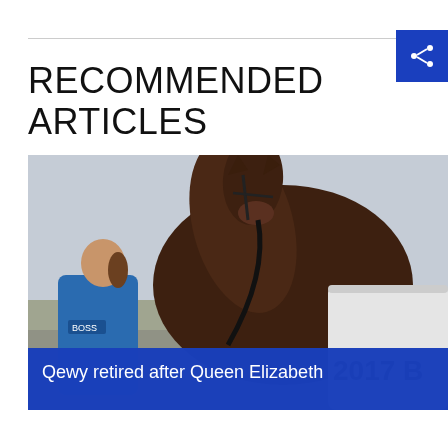RECOMMENDED ARTICLES
[Figure (photo): A woman in a blue vest holding the reins of a dark brown horse wearing a white blanket with '2017' printed on it, at an outdoor equestrian event with a crowd in the background.]
Qewy retired after Queen Elizabeth